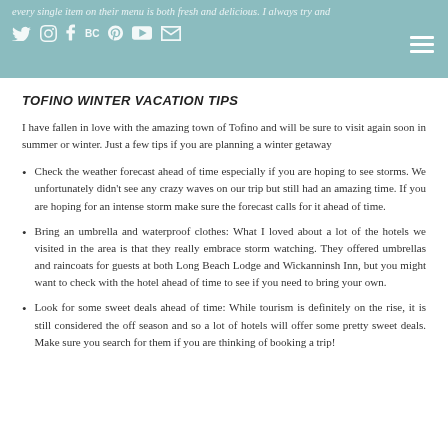every single item on their menu is both fresh and delicious. I always try and steak (some social icons) on.
TOFINO WINTER VACATION TIPS
I have fallen in love with the amazing town of Tofino and will be sure to visit again soon in summer or winter. Just a few tips if you are planning a winter getaway
Check the weather forecast ahead of time especially if you are hoping to see storms. We unfortunately didn't see any crazy waves on our trip but still had an amazing time. If you are hoping for an intense storm make sure the forecast calls for it ahead of time.
Bring an umbrella and waterproof clothes: What I loved about a lot of the hotels we visited in the area is that they really embrace storm watching. They offered umbrellas and raincoats for guests at both Long Beach Lodge and Wickanninsh Inn, but you might want to check with the hotel ahead of time to see if you need to bring your own.
Look for some sweet deals ahead of time: While tourism is definitely on the rise, it is still considered the off season and so a lot of hotels will offer some pretty sweet deals. Make sure you search for them if you are thinking of booking a trip!